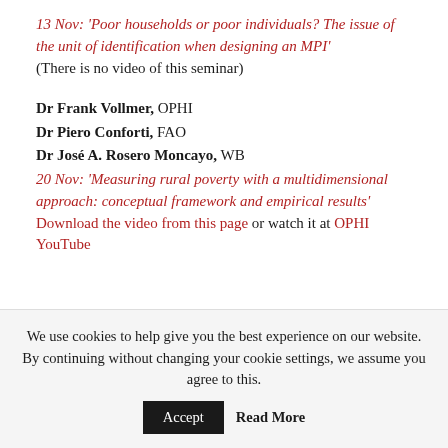13 Nov: 'Poor households or poor individuals? The issue of the unit of identification when designing an MPI' (There is no video of this seminar)
Dr Frank Vollmer, OPHI
Dr Piero Conforti, FAO
Dr José A. Rosero Moncayo, WB
20 Nov: 'Measuring rural poverty with a multidimensional approach: conceptual framework and empirical results' Download the video from this page or watch it at OPHI YouTube
We use cookies to help give you the best experience on our website. By continuing without changing your cookie settings, we assume you agree to this.